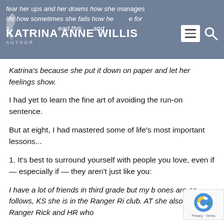fear her ups and her downs how she manages life how sometimes she fails how she hopes for someone just because how Read this blog and maybe it could change your life just as it changed
KATRINA ANNE WILLIS
Katrina's because she put it down on paper and let her feelings show.
I had yet to learn the fine art of avoiding the run-on sentence.
But at eight, I had mastered some of life's most important lessons...
1. It's best to surround yourself with people you love, even if — especially if — they aren't just like you:
I have a lot of friends in third grade but my b ones are as follows, KS she is in the Ranger Ri club. AT she also is in Ranger Rick and HR who